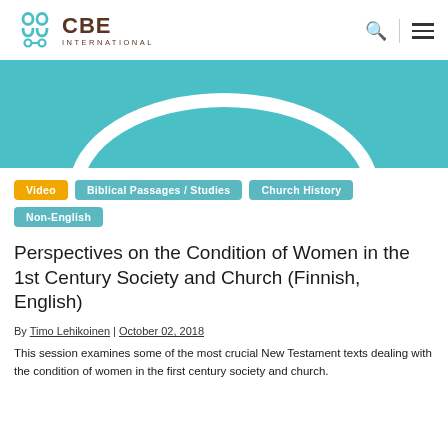[Figure (logo): CBE International logo with teal icon and brown text]
[Figure (illustration): Teal hero banner with white circular arc design at bottom]
Video
Biblical Passages / Studies
Church History
Non-English
Perspectives on the Condition of Women in the 1st Century Society and Church (Finnish, English)
By Timo Lehikoinen | October 02, 2018
This session examines some of the most crucial New Testament texts dealing with the condition of women in the first century society and church.